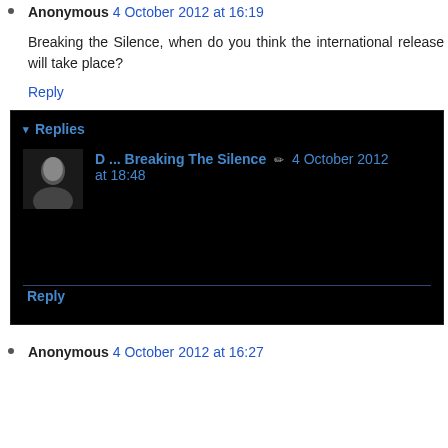Anonymous 4 October 2012 at 16:19
Breaking the Silence, when do you think the international release will take place?
Reply
[Figure (screenshot): Dark replies box containing a reply from D ... Breaking The Silence dated 4 October 2012 at 18:48, with user avatar image, author name link, edit icon, date, horizontal divider, and a Reply link at the bottom.]
Anonymous 4 October 2012 at 16:27